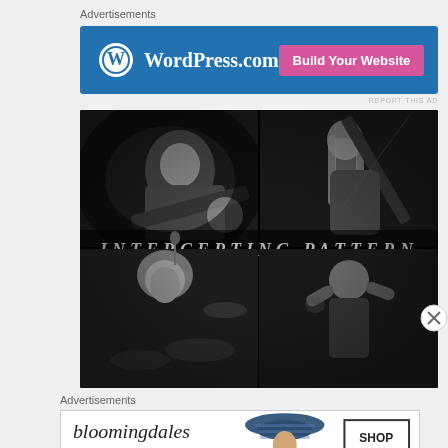Advertisements
[Figure (screenshot): WordPress.com advertisement banner with blue background, WordPress logo on left, and pink 'Build Your Website' button on right]
REPORT THIS AD
[Figure (photo): Band photo collage for 'Intercepting Pattern' - four black and white performance photos in a 2x2 grid showing guitarist, bassist with long hair, female drummer, and vocalist]
Advertisements
[Figure (screenshot): Bloomingdales advertisement with cursive logo, 'View Today's Top Deals!' tagline, woman in hat, and 'SHOP NOW>' button]